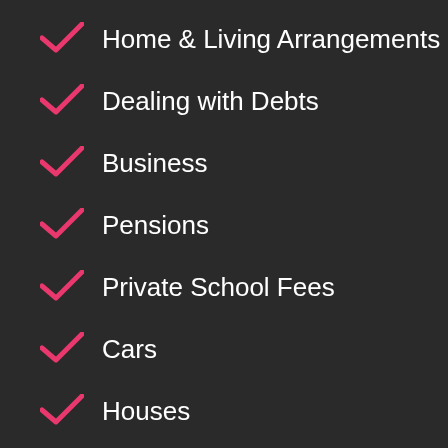Home & Living Arrangements
Dealing with Debts
Business
Pensions
Private School Fees
Cars
Houses